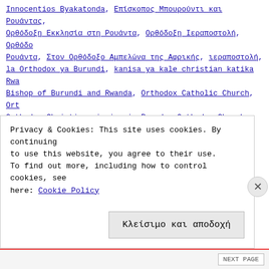Innocentios Byakatonda, Επίσκοπος Μπουρούντι και Ρουάντας, Ορθόδοξη Εκκλησία στη Ρουάντα, Ορθόδοξη Ιεραποστολή, Ορθόδοξη Ρουάντα, Στον Ορθόδοξο Αμπελώνα της Αφρικής, ιεραποστολή, la Orthodox ya Burundi, kanisa ya kale christian katika Rwa, Bishop of Burundi and Rwanda, Orthodox Catholic Church, Orthodox Christian mission in Rwanda, Orthodox Church, Diocese of Burundi and Rwanda, orthodoxe mission chrétienne
Baptisms in Orthodox Church ( 11 in Burundi, 11 ατόμων στο Μπουρούντι και 31 στην Ουγκάν
Posted on 17 Αυγούστου, 2015 by ierapostoli
On the Eve of Dormition of Virgin Mary's feast
Privacy & Cookies: This site uses cookies. By continuing to use this website, you agree to their use. To find out more, including how to control cookies, see here: Cookie Policy
Κλείσιμο και αποδοχή